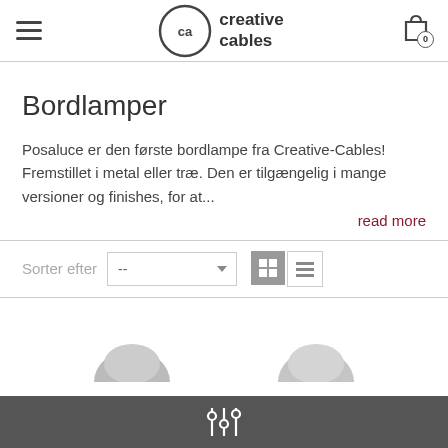creative cables
Bordlamper
Posaluce er den første bordlampe fra Creative-Cables! Fremstillet i metal eller træ. Den er tilgængelig i mange versioner og finishes, for at...
read more
[Figure (screenshot): Sort bar with 'Sorter efter' label, dropdown selector showing '--', and grid/list view toggle icons]
[Figure (photo): Partial product thumbnails visible at bottom of page — two lamp product images partially shown]
[Figure (infographic): Dark grey bottom toolbar with a filter/sliders icon in the center]